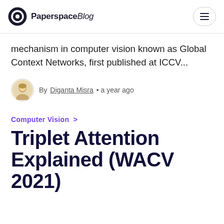PaperspaceBlog
mechanism in computer vision known as Global Context Networks, first published at ICCV...
By Diganta Misra • a year ago
Computer Vision >
Triplet Attention Explained (WACV 2021)